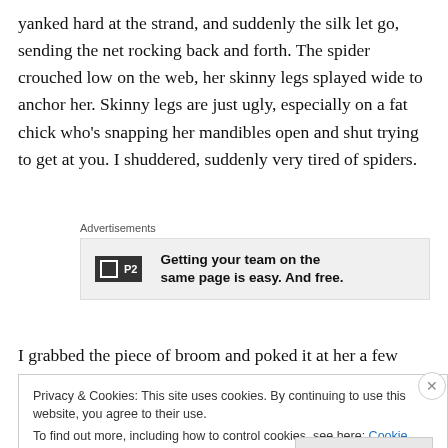yanked hard at the strand, and suddenly the silk let go, sending the net rocking back and forth. The spider crouched low on the web, her skinny legs splayed wide to anchor her. Skinny legs are just ugly, especially on a fat chick who’s snapping her mandibles open and shut trying to get at you. I shuddered, suddenly very tired of spiders.
[Figure (other): Advertisement banner for P2 service with logo and text: Getting your team on the same page is easy. And free.]
I grabbed the piece of broom and poked it at her a few
Privacy & Cookies: This site uses cookies. By continuing to use this website, you agree to their use.
To find out more, including how to control cookies, see here: Cookie Policy
Close and accept